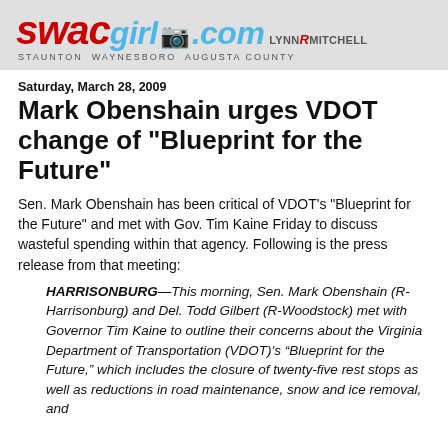swacgirl.com LYNN R MITCHELL STAUNTON WAYNESBORO AUGUSTA COUNTY
Saturday, March 28, 2009
Mark Obenshain urges VDOT change of "Blueprint for the Future"
Sen. Mark Obenshain has been critical of VDOT's "Blueprint for the Future" and met with Gov. Tim Kaine Friday to discuss wasteful spending within that agency. Following is the press release from that meeting:
HARRISONBURG—This morning, Sen. Mark Obenshain (R-Harrisonburg) and Del. Todd Gilbert (R-Woodstock) met with Governor Tim Kaine to outline their concerns about the Virginia Department of Transportation (VDOT)'s “Blueprint for the Future,” which includes the closure of twenty-five rest stops as well as reductions in road maintenance, snow and ice removal, and